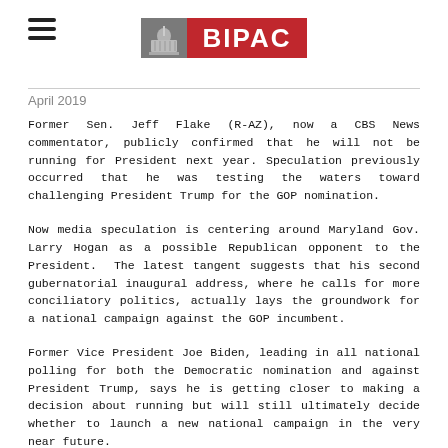[Figure (logo): BIPAC logo with gray building icon on left and red rectangle with white 'BIPAC' text on right]
April 2019
Former Sen. Jeff Flake (R-AZ), now a CBS News commentator, publicly confirmed that he will not be running for President next year. Speculation previously occurred that he was testing the waters toward challenging President Trump for the GOP nomination.
Now media speculation is centering around Maryland Gov. Larry Hogan as a possible Republican opponent to the President. The latest tangent suggests that his second gubernatorial inaugural address, where he calls for more conciliatory politics, actually lays the groundwork for a national campaign against the GOP incumbent.
Former Vice President Joe Biden, leading in all national polling for both the Democratic nomination and against President Trump, says he is getting closer to making a decision about running but will still ultimately decide whether to launch a new national campaign in the very near future.